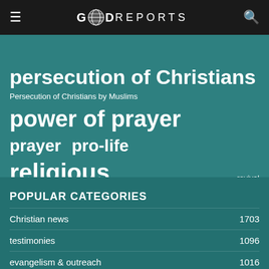GOD REPORTS
persecution of Christians
Persecution of Christians by Muslims   power of prayer
prayer   pro-life
religious persecution   revival
POPULAR CATEGORIES
Christian news 1703
testimonies 1096
evangelism & outreach 1016
missions 954
Top Featured 858